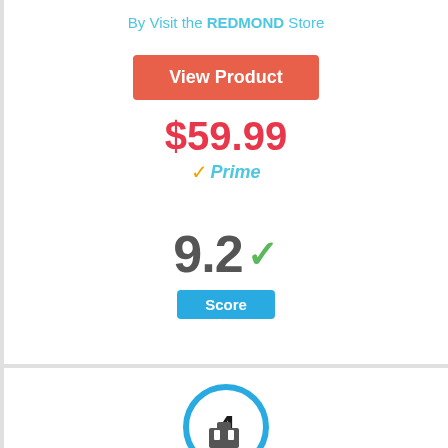By Visit the REDMOND Store
View Product
$59.99
✓Prime
9.2 ✓
Score
[Figure (infographic): A circle with the number 4 inside, outlined in blue]
[Figure (illustration): Partial icon at bottom of page]